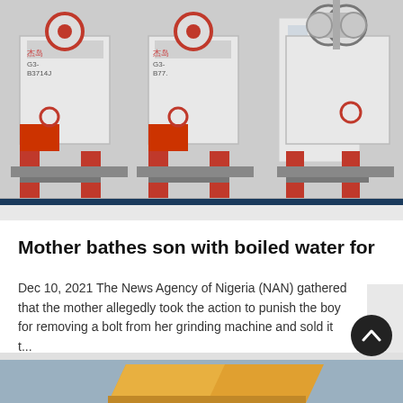[Figure (photo): Industrial grinding/crushing machines — white and red metal machinery units with hoppers, wheels, and legs on a grey background]
Mother bathes son with boiled water for ...
Dec 10, 2021 The News Agency of Nigeria (NAN) gathered that the mother allegedly took the action to punish the boy for removing a bolt from her grinding machine and sold it t...
[Figure (photo): Partial view of a dump truck with orange/yellow cargo bed against a blue-grey sky background]